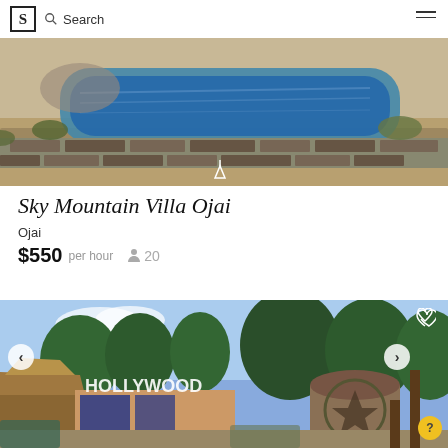S Search
[Figure (photo): Aerial view of swimming pool area with stone walls and landscaping at Sky Mountain Villa Ojai]
Sky Mountain Villa Ojai
Ojai
$550 per hour  20
[Figure (photo): Outdoor venue with Hollywood sign letters and palm trees, with navigation arrows]